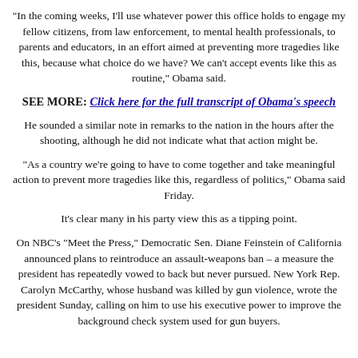"In the coming weeks, I'll use whatever power this office holds to engage my fellow citizens, from law enforcement, to mental health professionals, to parents and educators, in an effort aimed at preventing more tragedies like this, because what choice do we have? We can't accept events like this as routine," Obama said.
SEE MORE: Click here for the full transcript of Obama's speech
He sounded a similar note in remarks to the nation in the hours after the shooting, although he did not indicate what that action might be.
"As a country we're going to have to come together and take meaningful action to prevent more tragedies like this, regardless of politics," Obama said Friday.
It's clear many in his party view this as a tipping point.
On NBC's "Meet the Press," Democratic Sen. Diane Feinstein of California announced plans to reintroduce an assault-weapons ban – a measure the president has repeatedly vowed to back but never pursued. New York Rep. Carolyn McCarthy, whose husband was killed by gun violence, wrote the president Sunday, calling on him to use his executive power to improve the background check system used for gun buyers.